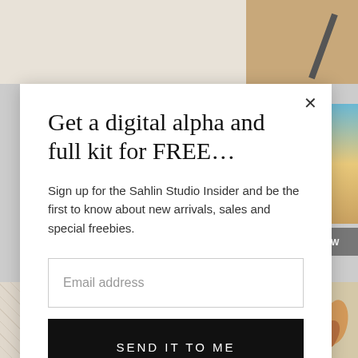[Figure (screenshot): Background of webpage showing decorative scrapbook-style patterns and photos, partially obscured by modal dialog]
Get a digital alpha and full kit for FREE…
Sign up for the Sahlin Studio Insider and be the first to know about new arrivals, sales and special freebies.
Email address
SEND IT TO ME